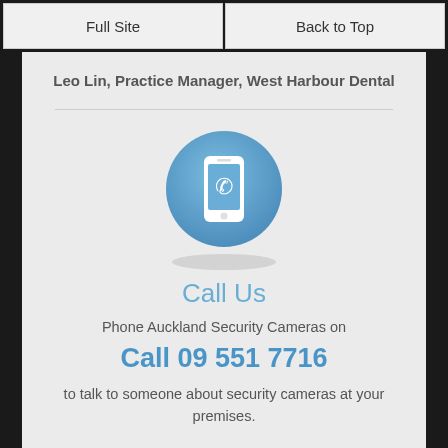Full Site | Back to Top
Leo Lin, Practice Manager, West Harbour Dental
[Figure (illustration): Blue circle with a white smartphone icon showing a phone handset, with a subtle shadow ellipse below]
Call Us
Phone Auckland Security Cameras on
Call 09 551 7716
to talk to someone about security cameras at your premises.